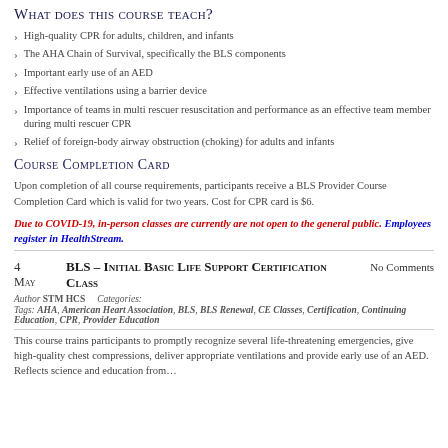What does this course teach?
High-quality CPR for adults, children, and infants
The AHA Chain of Survival, specifically the BLS components
Important early use of an AED
Effective ventilations using a barrier device
Importance of teams in multi rescuer resuscitation and performance as an effective team member during multi rescuer CPR
Relief of foreign-body airway obstruction (choking) for adults and infants
Course Completion Card
Upon completion of all course requirements, participants receive a BLS Provider Course Completion Card which is valid for two years. Cost for CPR card is $6.
Due to COVID-19, in-person classes are currently are not open to the general public. Employees register in HealthStream.
4 May  BLS – Initial Basic Life Support Certification Class  No Comments
Author STM HCS   Categories:
Tags: AHA, American Heart Association, BLS, BLS Renewal, CE Classes, Certification, Continuing Education, CPR, Provider Education
This course trains participants to promptly recognize several life-threatening emergencies, give high-quality chest compressions, deliver appropriate ventilations and provide early use of an AED. Reflects science and education from…